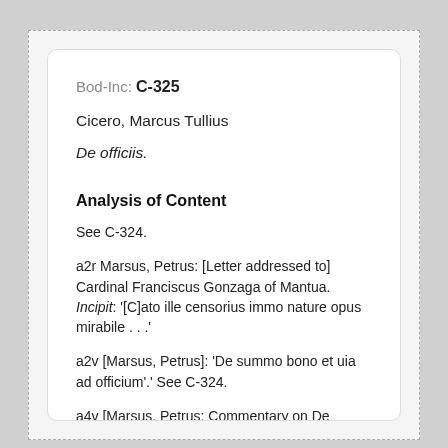Bod-Inc: C-325
Cicero, Marcus Tullius
De officiis.
Analysis of Content
See C-324.
a2r Marsus, Petrus: [Letter addressed to] Cardinal Franciscus Gonzaga of Mantua. Incipit: '[C]ato ille censorius immo nature opus mirabile . . .'
a2v [Marsus, Petrus]: 'De summo bono et uia ad officium'.' See C-324.
a4v [Marsus, Petrus: Commentary on De